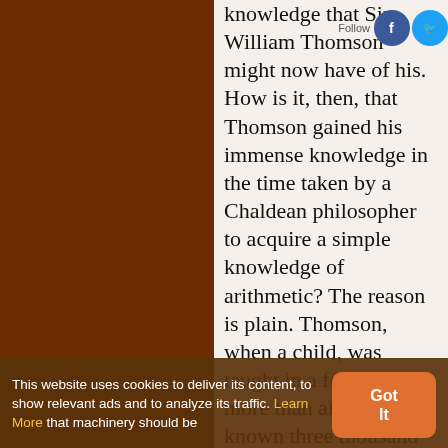knowledge that Sir William Thomson might now have of his. How is it, then, that Thomson gained his immense knowledge in the time taken by a Chaldean philosopher to acquire a simple knowledge of arithmetic? The reason is plain. Thomson, when a child, was taught in a few years more than all that was known three thousand years ago of the properties of numbers. What is it is found to a machinery should be
This website uses cookies to deliver its content, to show relevant ads and to analyze its traffic. Learn More that machinery should be